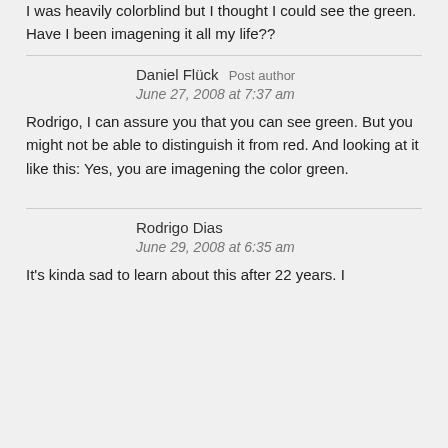I was heavily colorblind but I thought I could see the green. Have I been imagening it all my life??
Daniel Flück  Post author
June 27, 2008 at 7:37 am
Rodrigo, I can assure you that you can see green. But you might not be able to distinguish it from red. And looking at it like this: Yes, you are imagening the color green.
Rodrigo Dias
June 29, 2008 at 6:35 am
It's kinda sad to learn about this after 22 years. I